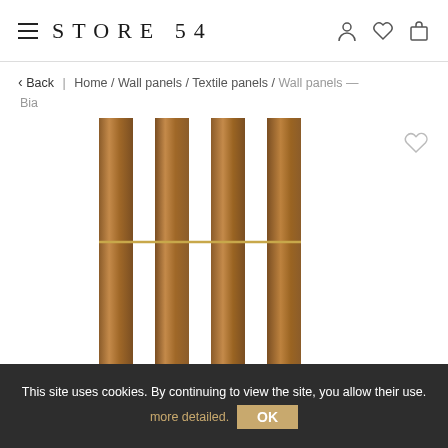STORE 54
< Back | Home / Wall panels / Textile panels / Wall panels — Bia
[Figure (photo): Product photo of wavy textile wall panels in brown/tan leather-like material arranged in a grid of 4 columns, with gold horizontal dividing lines, shown against white background]
This site uses cookies. By continuing to view the site, you allow their use. more detailed. OK